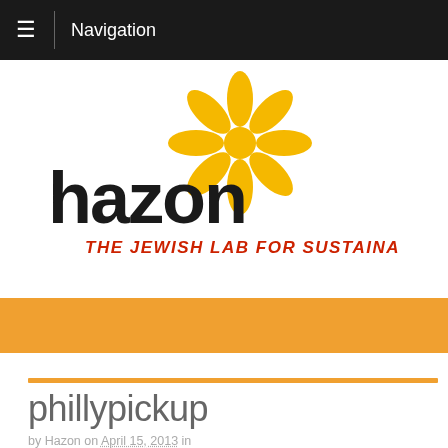Navigation
[Figure (logo): Hazon logo - black bold 'hazon' text with yellow flower/sunburst graphic above, red italic text 'THE JEWISH LAB FOR SUSTAINABILITY' below]
phillypickup
by Hazon on April 15, 2013 in